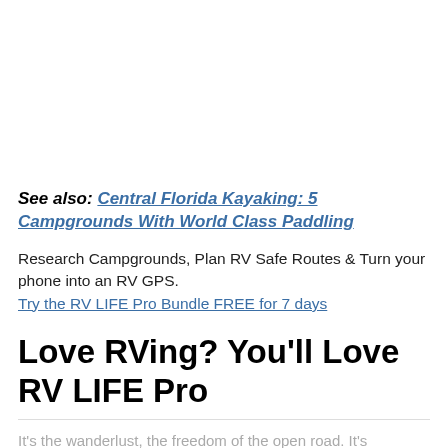See also: Central Florida Kayaking: 5 Campgrounds With World Class Paddling
Research Campgrounds, Plan RV Safe Routes & Turn your phone into an RV GPS. Try the RV LIFE Pro Bundle FREE for 7 days
Love RVing? You'll Love RV LIFE Pro
It's the wanderlust, the freedom of the open road. It's